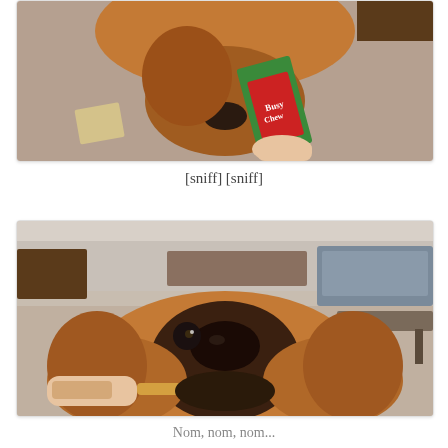[Figure (photo): A golden retriever dog sniffing a colorful treat bag/box labeled 'Busy Chew' being held by a human hand, viewed from above, on a carpeted floor.]
[sniff] [sniff]
[Figure (photo): Close-up of a golden retriever dog facing camera, receiving a dog treat from a human hand, in a living room with couches and furniture visible in background.]
Nom, nom, nom...